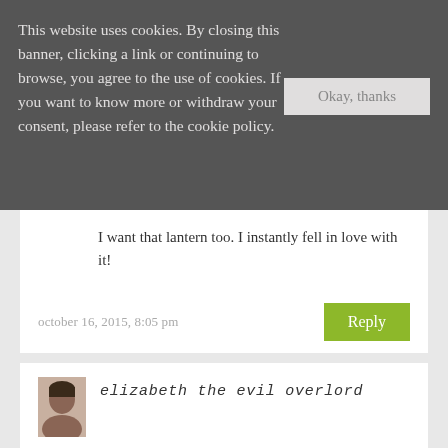This website uses cookies. By closing this banner, clicking a link or continuing to browse, you agree to the use of cookies. If you want to know more or withdraw your consent, please refer to the cookie policy.
Okay, thanks
I want that lantern too. I instantly fell in love with it!
october 16, 2015, 8:05 pm
Reply
[Figure (photo): Small avatar photo of a person (elizabeth the evil overlord)]
elizabeth the evil overlord
Definitely an idea I'll have to steal! I'll do one as part of my Blog Ahead posts.
Elizabeth the Evil Overlord recently posted: Prince of Prias